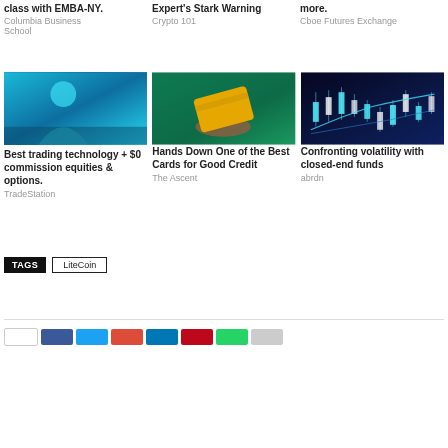class with EMBA-NY.
Expert's Stark Warning
more.
Columbia Business School
Crypto 101
Cboe Futures Exchange
[Figure (photo): Person sitting at a computer with blue tones]
[Figure (photo): Hand holding a gold/yellow credit card on green background]
[Figure (photo): Stock market candlestick chart with blue/dark background]
Best trading technology + $0 commission equities & options.
Hands Down One of the Best Cards for Good Credit
Confronting volatility with closed-end funds
TradeStation
The Ascent
abrdn
TAGS  LiteCoin
Share buttons row